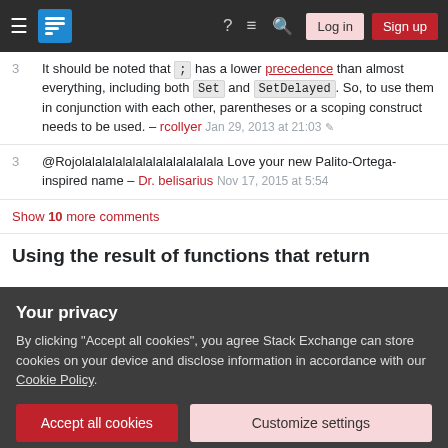Stack Exchange navigation bar with Log in and Sign up buttons
3 — It should be noted that ; has a lower precedence than almost everything, including both Set and SetDelayed. So, to use them in conjunction with each other, parentheses or a scoping construct needs to be used. – rcollyer Jan 29, 2013 at 21:03
3 — @Rojolalalalalalalalalalalalalala Love your new Palito-Ortega-inspired name – Dr. belisarius Nov 17, 2015 at 5:54
Show 10 more comments
Using the result of functions that return
Your privacy
By clicking "Accept all cookies", you agree Stack Exchange can store cookies on your device and disclose information in accordance with our Cookie Policy.
Let's start with the follwing simple example: